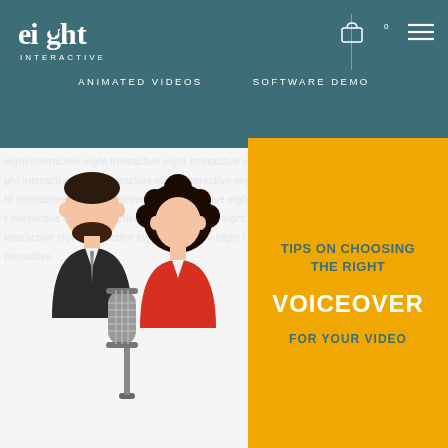eight interactive — ANIMATED VIDEOS   SOFTWARE DEMO
[Figure (illustration): Two illustrated people (bearded man in suit, woman with curly hair in red jacket) with a vintage microphone on a stand, watermarked background with repeated text]
TIPS ON CHOOSING THE RIGHT VOICEOVER FOR YOUR VIDEO